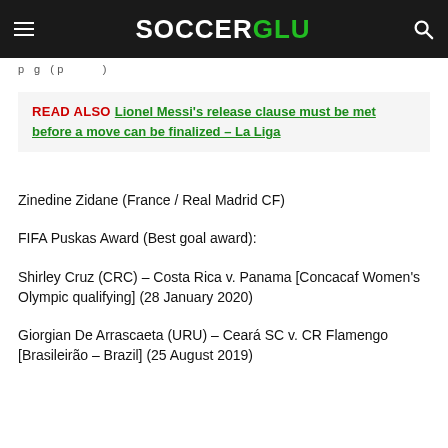SOCCERGLU
p g ( p )
READ ALSO  Lionel Messi's release clause must be met before a move can be finalized – La Liga
Zinedine Zidane (France / Real Madrid CF)
FIFA Puskas Award (Best goal award):
Shirley Cruz (CRC) – Costa Rica v. Panama [Concacaf Women's Olympic qualifying] (28 January 2020)
Giorgian De Arrascaeta (URU) – Ceará SC v. CR Flamengo [Brasileirão – Brazil] (25 August 2019)